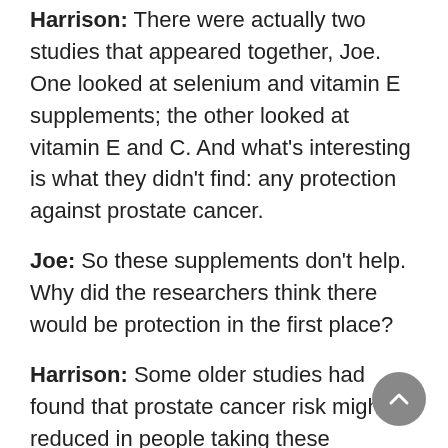Harrison: There were actually two studies that appeared together, Joe. One looked at selenium and vitamin E supplements; the other looked at vitamin E and C. And what's interesting is what they didn't find: any protection against prostate cancer.
Joe: So these supplements don't help. Why did the researchers think there would be protection in the first place?
Harrison: Some older studies had found that prostate cancer risk might be reduced in people taking these supplements. And this has happened several times in the past few years, Joe. A small study or an observational study might find some link between a dietary supplement and a disease or condition. But to really see if the supplement is having an effect, you've got to test it in a randomized clinical trial.